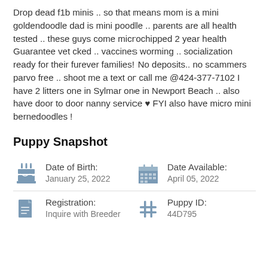Drop dead f1b minis .. so that means mom is a mini goldendoodle dad is mini poodle .. parents are all health tested .. these guys come microchipped 2 year health Guarantee vet cked .. vaccines worming .. socialization ready for their furever families! No deposits.. no scammers parvo free .. shoot me a text or call me @424-377-7102 I have 2 litters one in Sylmar one in Newport Beach .. also have door to door nanny service ♥ FYI also have micro mini bernedoodles !
Puppy Snapshot
| Icon | Label | Value | Icon | Label | Value |
| --- | --- | --- | --- | --- | --- |
| [birthday cake icon] | Date of Birth: | January 25, 2022 | [calendar icon] | Date Available: | April 05, 2022 |
| [document icon] | Registration: | Inquire with Breeder | [hashtag icon] | Puppy ID: | 44D795 |